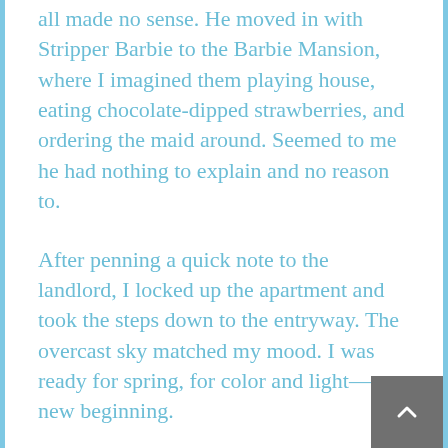all made no sense. He moved in with Stripper Barbie to the Barbie Mansion, where I imagined them playing house, eating chocolate-dipped strawberries, and ordering the maid around. Seemed to me he had nothing to explain and no reason to.
After penning a quick note to the landlord, I locked up the apartment and took the steps down to the entryway. The overcast sky matched my mood. I was ready for spring, for color and light—a new beginning.
After adjusting the crocheted burgundy scarf around my neck, I hurried through the door and squinted into the wind as my boots crunched over the snowy sidewalk. The truck was parked ille[gally] at the curb in front of a fire hydrant.